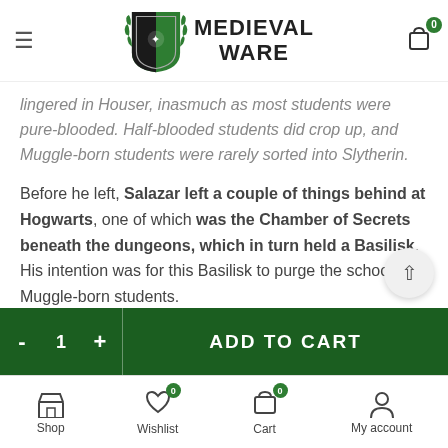Medieval Ware — navigation header with logo, hamburger menu, and cart icon
lingered in Houser, inasmuch as most students were pure-blooded. Half-blooded students did crop up, and Muggle-born students were rarely sorted into Slytherin.
Before he left, Salazar left a couple of things behind at Hogwarts, one of which was the Chamber of Secrets beneath the dungeons, which in turn held a Basilisk. His intention was for this Basilisk to purge the school of Muggle-born students.
The House colours of Slytherin were green and silver, and House animal was a serpent. The serpent is especially
- 1 + ADD TO CART | Shop Wishlist Cart My account